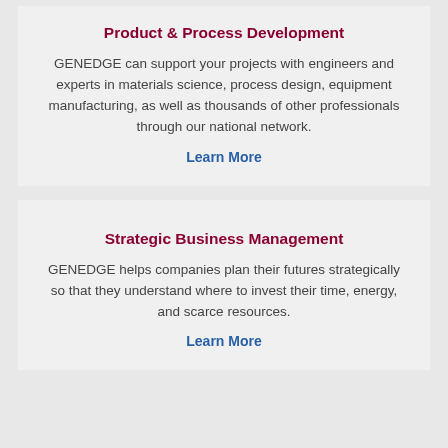Product & Process Development
GENEDGE can support your projects with engineers and experts in materials science, process design, equipment manufacturing, as well as thousands of other professionals through our national network.
Learn More
Strategic Business Management
GENEDGE helps companies plan their futures strategically so that they understand where to invest their time, energy, and scarce resources.
Learn More